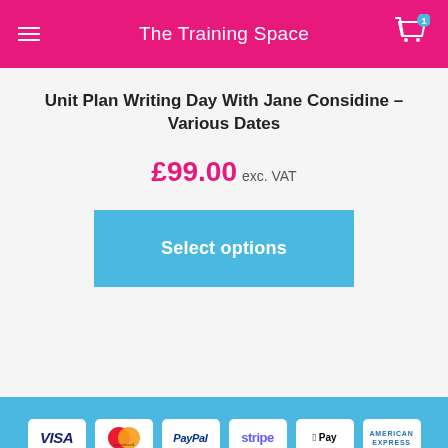The Training Space
Unit Plan Writing Day With Jane Considine – Various Dates
£99.00 exc. VAT
Select options
[Figure (infographic): Payment method logos: VISA, Mastercard, PayPal, Stripe, Apple Pay, American Express]